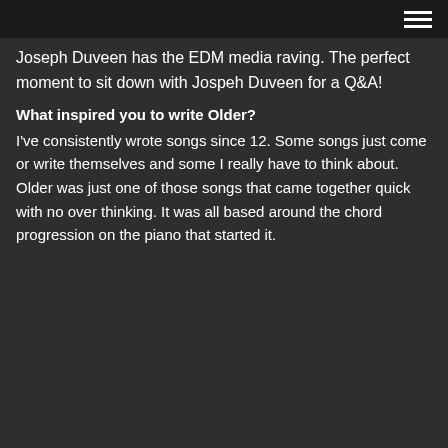Joseph Duveen has the EDM media raving. The perfect moment to sit down with Jospeh Duveen for a Q&A!
What inspired you to write Older?
I've consistently wrote songs since 12. Some songs just come or write themselves and some I really have to think about. Older was just one of those songs that came together quick with no over thinking. It was all based around the chord progression on the piano that started it.